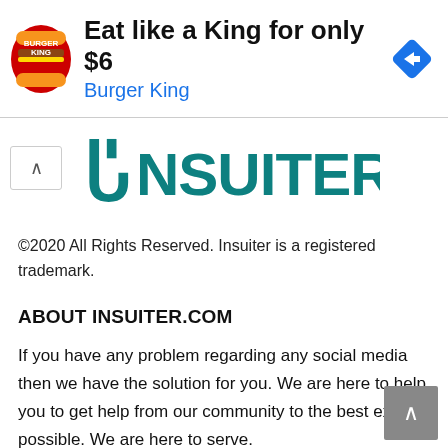[Figure (other): Burger King advertisement banner: BK logo on left, text 'Eat like a King for only $6' with 'Burger King' in blue below, blue diamond navigation icon on right]
[Figure (logo): Insuiter logo: teal stylized horseshoe/U shape with INSUITER text in large teal bold letters]
©2020 All Rights Reserved. Insuiter is a registered trademark.
ABOUT INSUITER.COM
If you have any problem regarding any social media then we have the solution for you. We are here to help you to get help from our community to the best extent possible. We are here to serve.